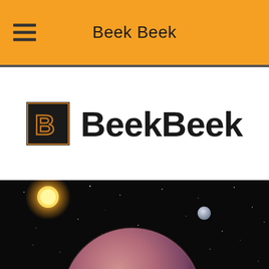Beek Beek
[Figure (logo): BeekBeek logo with a stylized B icon in a dark square and the text BeekBeek in bold black]
[Figure (illustration): Space scene showing a large pink/purple planet in the foreground, a glowing orange/yellow star in the upper left, a small moon or planet in the background right, and scattered stars on a dark background]